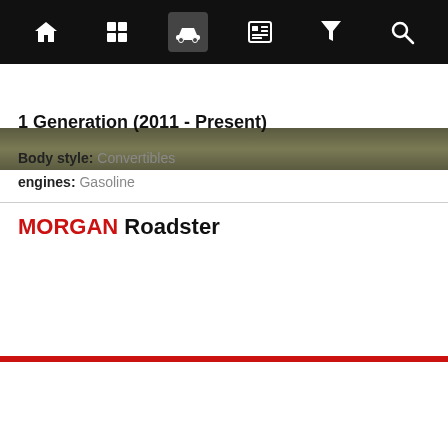Navigation bar with home, grid, car, news, filter, search icons
[Figure (photo): Partial car image strip at top below nav]
1 Generation (2011 - Present)
Body style: Convertibles
engines: Gasoline
MORGAN Roadster
[Figure (photo): Photo of Morgan Roadster car, olive/green tones]
We use cookies to improve your experience. By using the site you agree to the use of cookies. For more information and options regarding cookies and personal data see our Cookies Policy and Privacy Policy
Accept cookies & close
California residents: Do Not Sell My Info